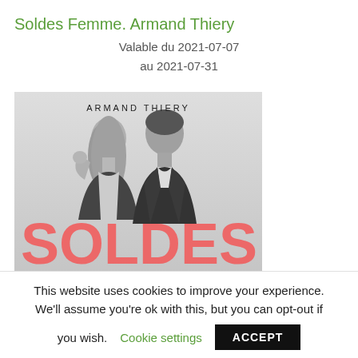Soldes Femme. Armand Thiery
Valable du 2021-07-07
au 2021-07-31
[Figure (photo): Black and white photo of a smiling woman and man posing together with 'ARMAND THIERY' text at top and large pink/red 'SOLDES' text overlaid at the bottom.]
This website uses cookies to improve your experience. We'll assume you're ok with this, but you can opt-out if you wish. Cookie settings ACCEPT